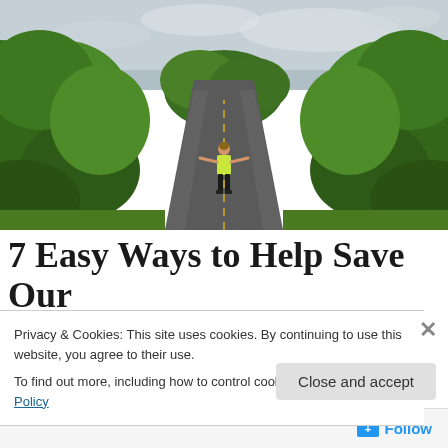[Figure (photo): A person in a yellow top and black leggings walks/runs down a narrow paved path flanked by dense tropical green vegetation on both sides, with an overcast sky above.]
7 Easy Ways to Help Save Our
Privacy & Cookies: This site uses cookies. By continuing to use this website, you agree to their use.
To find out more, including how to control cookies, see here: Cookie Policy
Close and accept
+ Follow